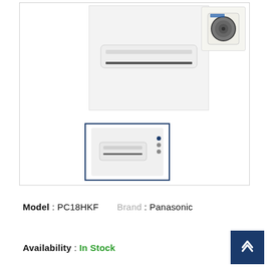[Figure (photo): Product image area showing a wall-mounted Panasonic air conditioner indoor unit (white, slim, horizontal) on a light gray background, with a small Panasonic outdoor unit visible to the right.]
[Figure (photo): Thumbnail image of Panasonic air conditioner indoor unit with control panel dots, selected with a dark blue border.]
Model : PC18HKF    Brand : Panasonic
Availability : In Stock